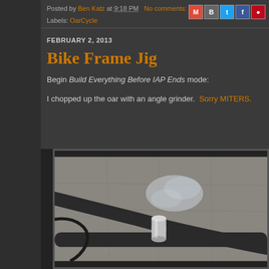Posted by Ben Katz at 9:18 PM  No comments:
Labels: OarCycle
FEBRUARY 2, 2013
Bike Frame Jig
Begin Build Everything Before IAP Ends mode:
I chopped up the oar with an angle grinder.  Sorry MITERS.
[Figure (photo): Overhead photo of bike frame tubing and silver cylindrical connector on a concrete floor, with a piece of plastic wrap nearby]